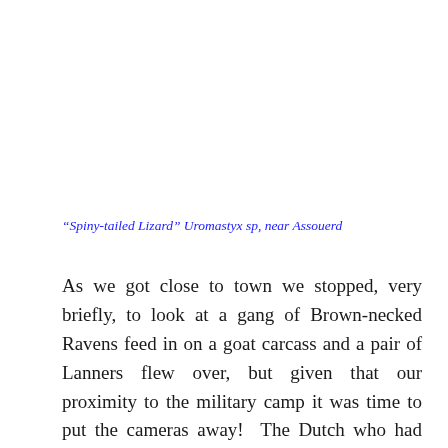“Spiny-tailed Lizard” Uromastyx sp, near Assouerd
As we got close to town we stopped, very briefly, to look at a gang of Brown-necked Ravens feed in on a goat carcass and a pair of Lanners flew over, but given that our proximity to the military camp it was time to put the cameras away!  The Dutch who had also been watching the falcons were also heading into town to try and secure better images of a